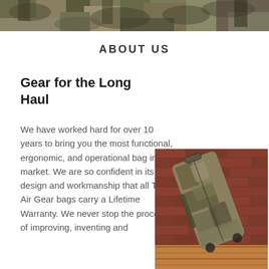[Figure (photo): Camouflage outdoor/military gear hero banner image cropped at top]
ABOUT US
Gear for the Long Haul
We have worked hard for over 10 years to bring you the most functional, ergonomic, and operational bag in the market. We are so confident in its design and workmanship that all Thin Air Gear bags carry a Lifetime Warranty. We never stop the process of improving, inventing and
[Figure (photo): Camouflage military-style rolling duffel bag leaning against a red brick wall on a wood floor]